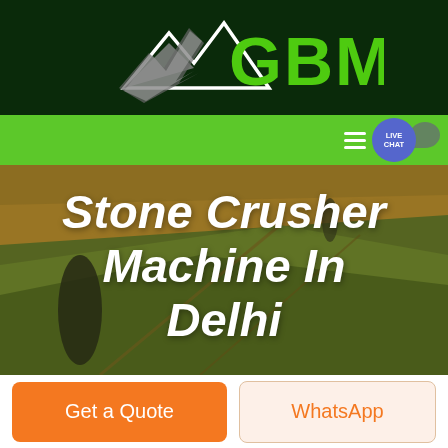[Figure (logo): GBM company logo with mountain/arrow graphic on dark green background. White mountain outline with grey arrow shape, and 'GBM' text in bold green letters.]
[Figure (screenshot): Green navigation bar with hamburger menu icon and 'LIVE CHAT' blue circular button with speech bubble icon on the right side.]
[Figure (photo): Aerial view of agricultural fields with warm golden and green tones, with dark tree silhouettes and dirt paths visible.]
Stone Crusher Machine In Delhi
Get a Quote
WhatsApp